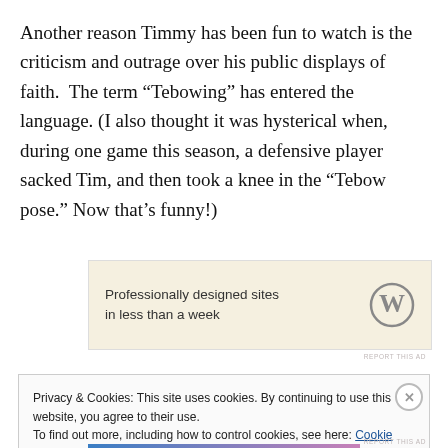Another reason Timmy has been fun to watch is the criticism and outrage over his public displays of faith.  The term “Tebowing” has entered the language. (I also thought it was hysterical when, during one game this season, a defensive player sacked Tim, and then took a knee in the “Tebow pose.” Now that’s funny!)
[Figure (other): WordPress advertisement banner: 'Professionally designed sites in less than a week' with WordPress logo]
REPORT THIS AD
Privacy & Cookies: This site uses cookies. By continuing to use this website, you agree to their use.
To find out more, including how to control cookies, see here: Cookie Policy
Close and accept